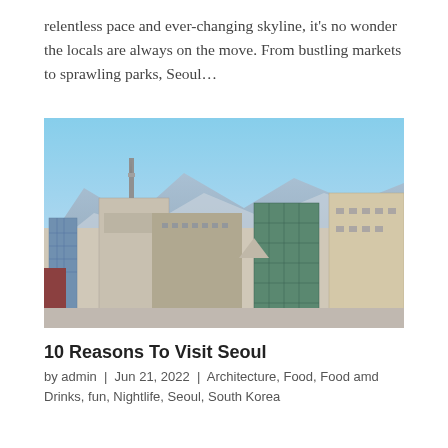relentless pace and ever-changing skyline, it's no wonder the locals are always on the move. From bustling markets to sprawling parks, Seoul…
[Figure (photo): Aerial view of Seoul cityscape with skyscrapers, modern office buildings in the foreground and mountains in the background under a clear blue sky.]
10 Reasons To Visit Seoul
by admin | Jun 21, 2022 | Architecture, Food, Food amd Drinks, fun, Nightlife, Seoul, South Korea